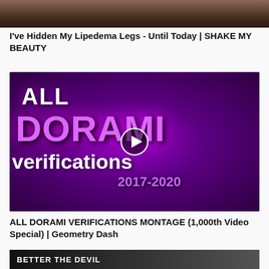[Figure (photo): Partial thumbnail image showing body/legs, top portion cropped]
I've Hidden My Lipedema Legs - Until Today | SHAKE MY BEAUTY
[Figure (photo): Purple themed video thumbnail with text 'ALL DORAMI verifications 2017-2020' with play button overlay]
ALL DORAMI VERIFICATIONS MONTAGE (1,000th Video Special) | Geometry Dash
[Figure (photo): Dark thumbnail partially visible at bottom with text 'BETTER THE DEVIL']